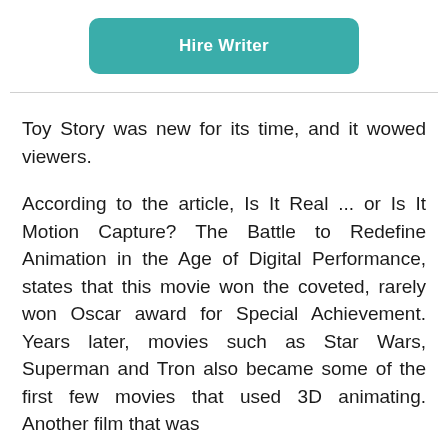[Figure (other): Teal/green rounded rectangle button labeled 'Hire Writer' in white bold text]
Toy Story was new for its time, and it wowed viewers.
According to the article, Is It Real ... or Is It Motion Capture? The Battle to Redefine Animation in the Age of Digital Performance, states that this movie won the coveted, rarely won Oscar award for Special Achievement. Years later, movies such as Star Wars, Superman and Tron also became some of the first few movies that used 3D animating. Another film that was